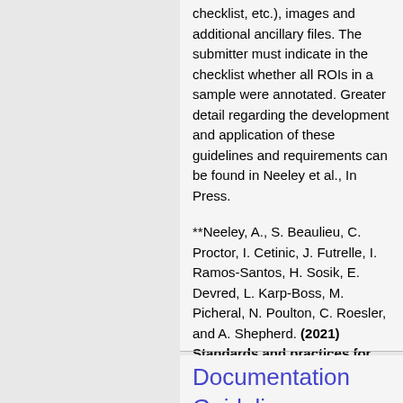checklist, etc.), images and additional ancillary files. The submitter must indicate in the checklist whether all ROIs in a sample were annotated. Greater detail regarding the development and application of these guidelines and requirements can be found in Neeley et al., In Press.
**Neeley, A., S. Beaulieu, C. Proctor, I. Cetinic, J. Futrelle, I. Ramos-Santos, H. Sosik, E. Devred, L. Karp-Boss, M. Picheral, N. Poulton, C. Roesler, and A. Shepherd. (2021) Standards and practices for reporting plankton and other particle observations from images. 38 pp. DOI:10.1575/1912/27377
Documentation Guidelines